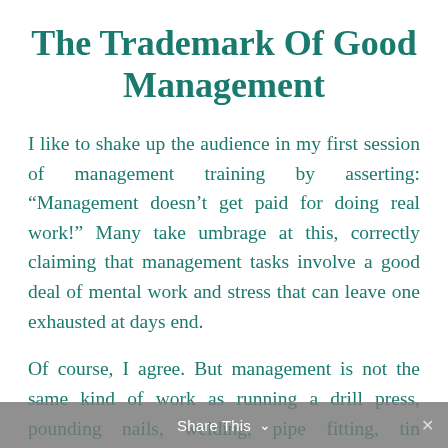The Trademark Of Good Management
I like to shake up the audience in my first session of management training by asserting: “Management doesn’t get paid for doing real work!” Many take umbrage at this, correctly claiming that management tasks involve a good deal of mental work and stress that can leave one exhausted at days end.
Of course, I agree. But management is not the same kind of work as running a drill press, pounding nails, welding, pipe fitting, tin knocking, painting and any of the myriad other tasks that require skilled, physical
Share This